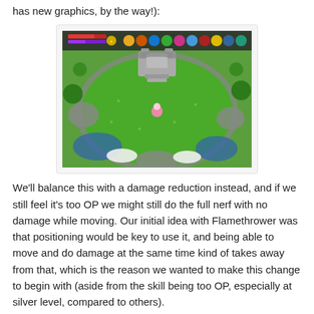has new graphics, by the way!):
[Figure (screenshot): A top-down view video game screenshot showing a green field/arena with a castle structure in the center-top area, a character in the middle, HUD elements at the top showing health bars and character icons, and various terrain features including rocks and water around the edges.]
We'll balance this with a damage reduction instead, and if we still feel it's too OP we might still do the full nerf with no damage while moving. Our initial idea with Flamethrower was that positioning would be key to use it, and being able to move and do damage at the same time kind of takes away from that, which is the reason we wanted to make this change to begin with (aside from the skill being too OP, especially at silver level, compared to others).
Hopefully this compromise will keep the fun feel of the skill while not making it too crazy good. It's always difficult nerfing